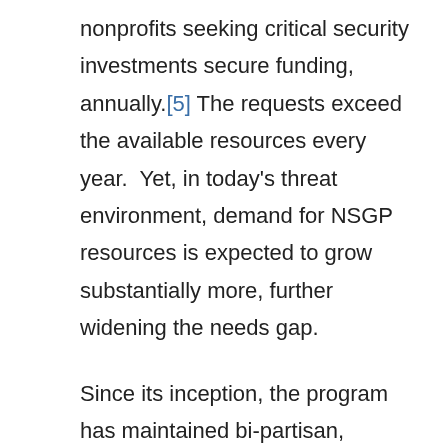nonprofits seeking critical security investments secure funding, annually.[5] The requests exceed the available resources every year.  Yet, in today's threat environment, demand for NSGP resources is expected to grow substantially more, further widening the needs gap.
Since its inception, the program has maintained bi-partisan, bicameral support as an efficient and effective means to accomplish a great deal of security enhancement and preparedness through modest grants.[6]  With this support and for the reasons stated above, we respectfully